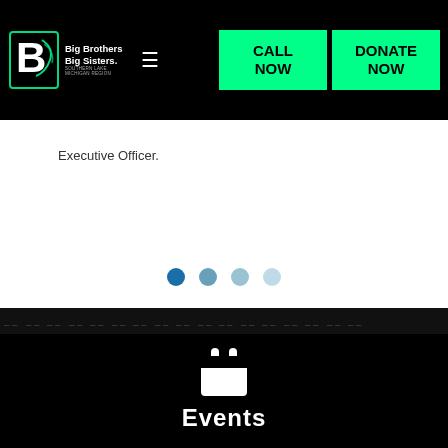Big Brothers Big Sisters. Southern Lake Michigan Region — CALL NOW | DONATE NOW
Executive Officer.
[Figure (other): Four pagination dots: one filled dark blue, three progressively lighter blue]
[Figure (other): Decorative dark band with dashed line pattern]
[Figure (other): White calendar icon on black background]
Events